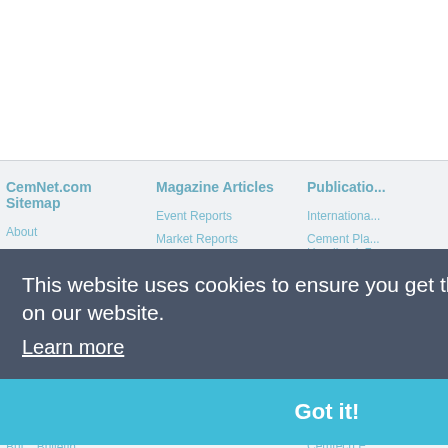CemNet.com Sitemap
About
Contact
Cement News
International
Trading 20...
Freight (no key)
Corporate
Enviro...
Recent Orders
Bui... Bulletin
RSS New... Feed
Magazine Articles
Event Reports
Market Reports
Corporate Analysis
The Tech Forum
Manufacturing Technology
Case Studies
Editor's Blog
International Cement Review Back Issues
Publications
International...
Cement Pla... Handbook 7...
The Global... Edition
Cement Pla... Handbook 3...
Conferences
Cemtech Li... Decarbonisi... Manufactu... 2022
Cemtech E... Spain, 02-0...
Training: P... decarboni...
This website uses cookies to ensure you get the best experience on our website.
Learn more
Got it!